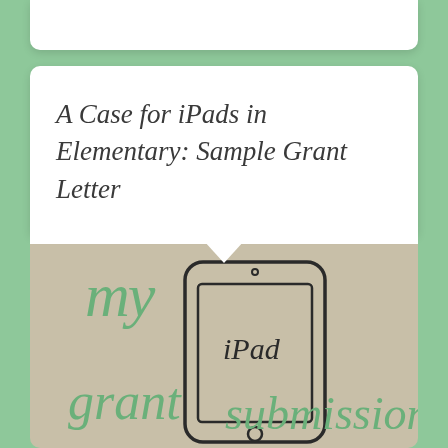A Case for iPads in Elementary: Sample Grant Letter
[Figure (illustration): Hand-drawn illustration on tan/beige background showing cursive script text 'my' in green at top left, a sketched iPad device in the center with 'iPad' written on it, and cursive green text 'grant submission' at the bottom.]